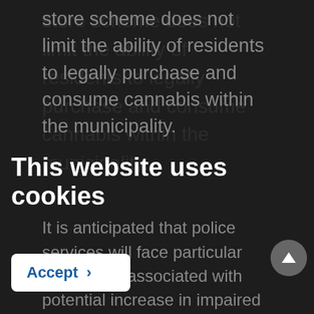store scheme does not limit the ability of residents to legally purchase and consume cannabis within the municipality.
This website uses cookies
It is anticipated that police services will face particular challenges associated with potential increase in impaired driving as the new...
We use cookies on our website. To learn more about cookies, how we use them on our site and how to change your cookie settings, please view our cookie policy. By continuing to use this site without changing your settings, you consent to our use of cookies in accordance with our cookie policy.
...of approved roadside testing devices and training of drug recognition experts. The federal government has granted provinces and territories up to $81 million over the next five years to attempt to respond to these